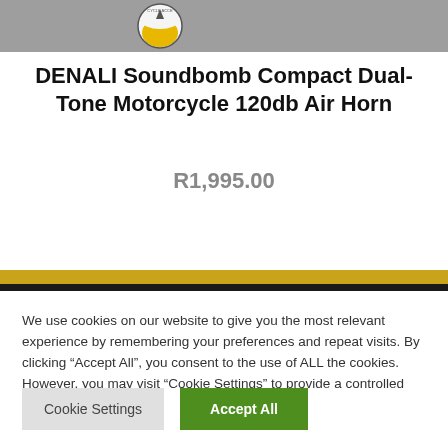DENALI Soundbomb Compact Dual-Tone Motorcycle 120db Air Horn
R1,995.00
We use cookies on our website to give you the most relevant experience by remembering your preferences and repeat visits. By clicking “Accept All”, you consent to the use of ALL the cookies. However, you may visit "Cookie Settings" to provide a controlled consent.